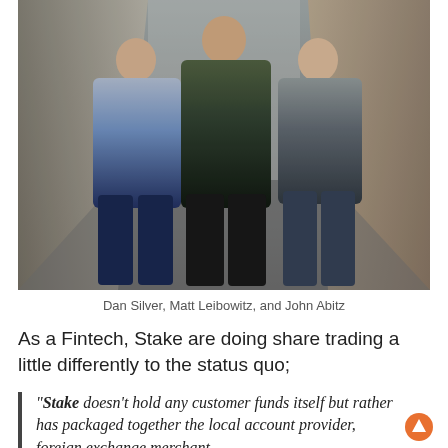[Figure (photo): Three men standing in an alleyway: Dan Silver on the left in a blue shirt, Matt Leibowitz in the center in a dark plaid shirt, and John Abitz on the right in a grey t-shirt.]
Dan Silver, Matt Leibowitz, and John Abitz
As a Fintech, Stake are doing share trading a little differently to the status quo;
“Stake doesn’t hold any customer funds itself but rather has packaged together the local account provider, foreign exchange merchant